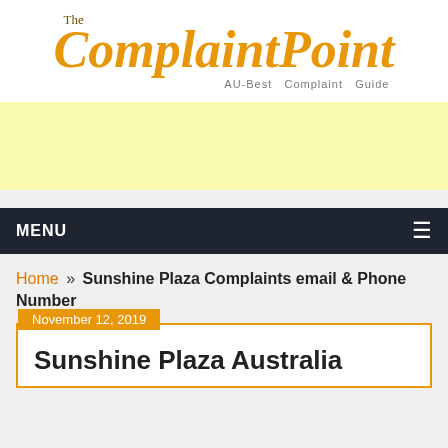[Figure (logo): The ComplaintPoint AU-Best Complaint Guide logo with orange italic script text and grey subtitle]
[Figure (other): Yellow advertisement banner placeholder]
MENU ≡
Home » Sunshine Plaza Complaints email & Phone Number
November 12, 2019
Sunshine Plaza Australia